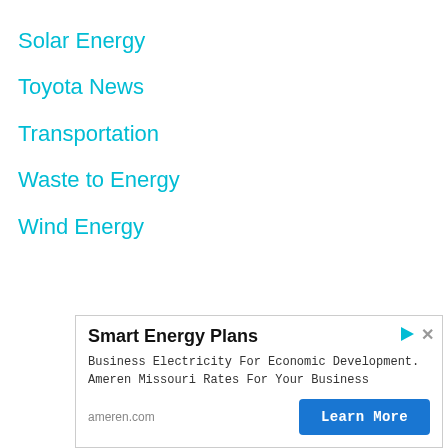Solar Energy
Toyota News
Transportation
Waste to Energy
Wind Energy
[Figure (other): Advertisement banner for Ameren Missouri Smart Energy Plans with Learn More button]
Smart Energy Plans
Business Electricity For Economic Development. Ameren Missouri Rates For Your Business
ameren.com
Learn More